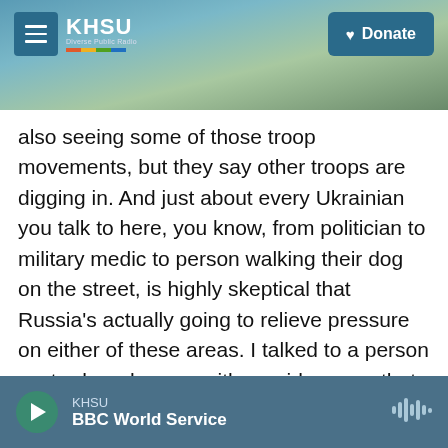[Figure (screenshot): KHSU public radio website header with hamburger menu, KHSU logo with rainbow stripe, and Donate button, overlaid on a coastal landscape background photo.]
also seeing some of those troop movements, but they say other troops are digging in. And just about every Ukrainian you talk to here, you know, from politician to military medic to person walking their dog on the street, is highly skeptical that Russia's actually going to relieve pressure on either of these areas. I talked to a person yesterday who was with an aid convoy that got turned around in Chernihiv because of fighting. And there were two loud booms that we heard while in central Kyiv yesterday, though we're still waiting for confirmation to hear what was hit.
KHSU BBC World Service